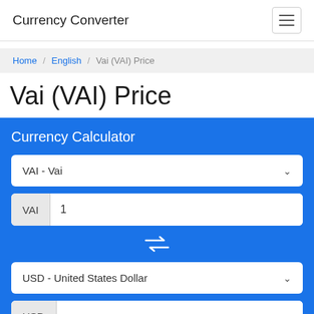Currency Converter
Home / English / Vai (VAI) Price
Vai (VAI) Price
Currency Calculator
VAI - Vai
VAI  1
USD - United States Dollar